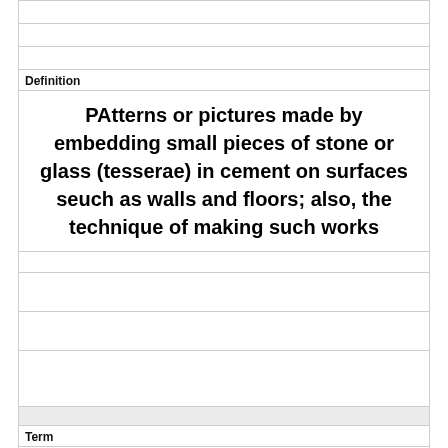Definition
PAtterns or pictures made by embedding small pieces of stone or glass (tesserae) in cement on surfaces seuch as walls and floors; also, the technique of making such works
Term
Palestra